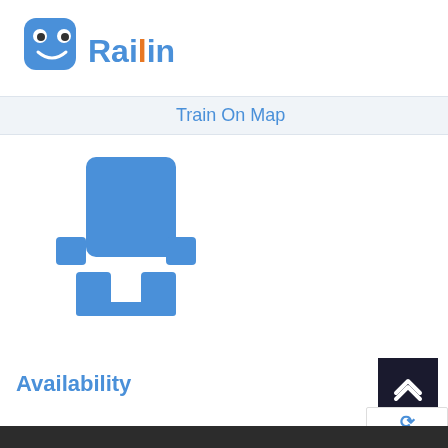[Figure (logo): Railin logo: blue robot/train face icon with smile, followed by text 'Railin' in blue and orange colors]
Train On Map
[Figure (illustration): Blue cartoon train/robot icon sitting on a platform, shown from front view]
Availability
Privacy · Terms